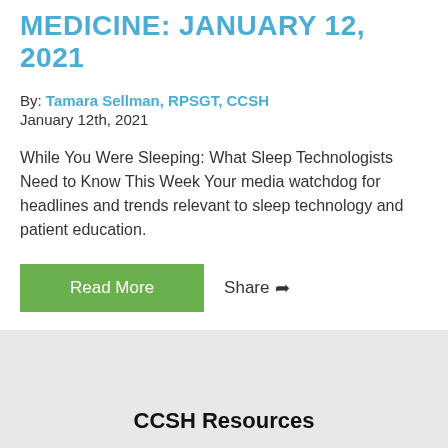MEDICINE: JANUARY 12, 2021
By: Tamara Sellman, RPSGT, CCSH
January 12th, 2021
While You Were Sleeping: What Sleep Technologists Need to Know This Week Your media watchdog for headlines and trends relevant to sleep technology and patient education.
[Figure (other): Green 'Read More' button and Share button with arrow icon]
CCSH Resources